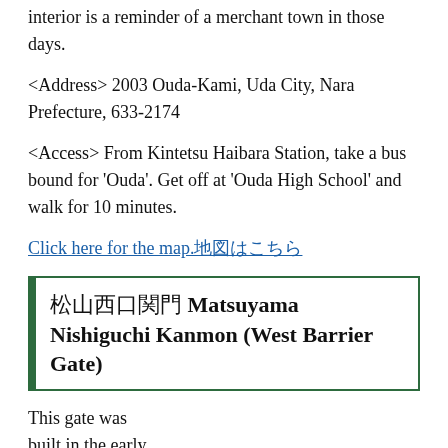interior is a reminder of a merchant town in those days.
<Address> 2003 Ouda-Kami, Uda City, Nara Prefecture, 633-2174
<Access> From Kintetsu Haibara Station, take a bus bound for 'Ouda'. Get off at 'Ouda High School' and walk for 10 minutes.
Click here for the map.地図はこちら
松山西口関門 Matsuyama Nishiguchi Kanmon (West Barrier Gate)
This gate was built in the early Edo period, and is affectionately called 'Kuro-Mon (Bl...